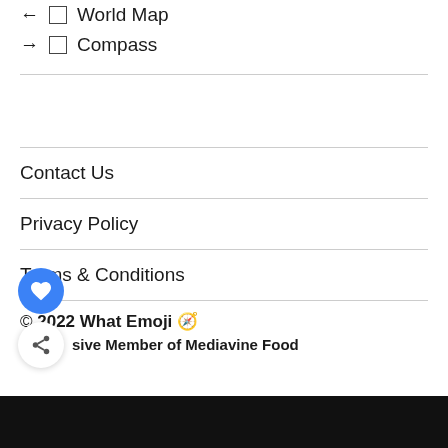← □ World Map
→ □ Compass
Contact Us
Privacy Policy
Terms & Conditions
© 2022 What Emoji 🧭
sive Member of Mediavine Food